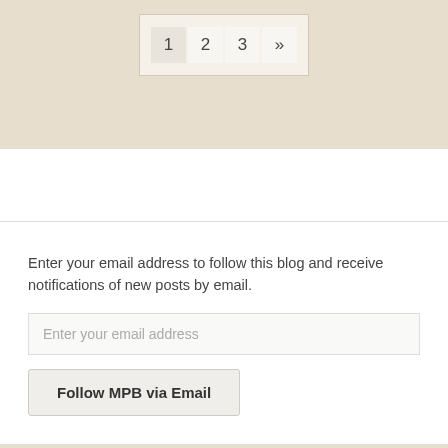[Figure (screenshot): Pagination navigation showing page buttons: 1, 2, 3, and a next arrow (»), with page 1 highlighted]
Enter your email address to follow this blog and receive notifications of new posts by email.
Enter your email address
Follow MPB via Email